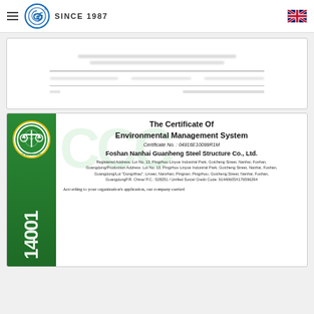SINCE 1987 (company logo header with navigation)
[Figure (photo): Partially visible blurred Chinese document certificate, showing address/contact lines and a horizontal separator line with footer text]
[Figure (photo): CEC Certification - The Certificate Of Environmental Management System. Certificate No.: 04916E10099R1M. Foshan Nanhai Guanheng Steel Structure Co., Ltd. Registered Address: Lot No. 13, Pingzhou Linyue Industrial Park, Guicheng Street, Nanhai, Foshan, Guangdong/Production Address: Lot No. 13, Pingzhou Linyue Industrial Park, Guicheng Street, Nanhai, Foshan, Guangdong/Lot 'Dongzihao', Linwei, Nanzhan, Pingnan, Pingzhou, Guicheng Street, Nanhai, Foshan, GuangdongP.R. China/ P.C.: 528251 / Unified Social Credit Code: 91440605X176596294. According to your organization's application, our company carried]